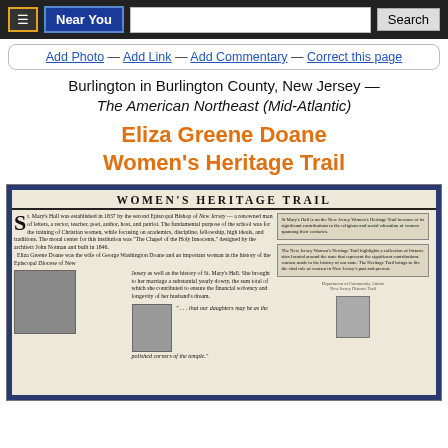Near You | Search bar
Add Photo — Add Link — Add Commentary — Correct this page
Burlington in Burlington County, New Jersey — The American Northeast (Mid-Atlantic)
Eliza Greene Doane Women's Heritage Trail
[Figure (photo): Photograph of a Women's Heritage Trail historical marker/placard featuring text about St. Mary's Hall established in 1837 by the second Episcopal Bishop of New Jersey, and Eliza Greene Doane, wife of George Washington Doane. Includes black and white photos of a building and a woman.]